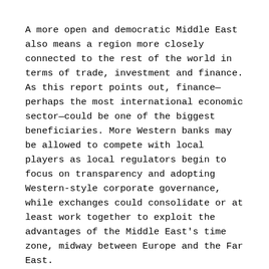A more open and democratic Middle East also means a region more closely connected to the rest of the world in terms of trade, investment and finance. As this report points out, finance—perhaps the most international economic sector—could be one of the biggest beneficiaries. More Western banks may be allowed to compete with local players as local regulators begin to focus on transparency and adopting Western-style corporate governance, while exchanges could consolidate or at least work together to exploit the advantages of the Middle East's time zone, midway between Europe and the Far East.
The big questions, of course, are the hardest to answer. How long will the transition take and what sort of governments can we expect to emerge? Nobody knows, but Eastern Europe's experience over 20 years ago shouldn't necessarily be taken as a guide. The revolutions there were against a